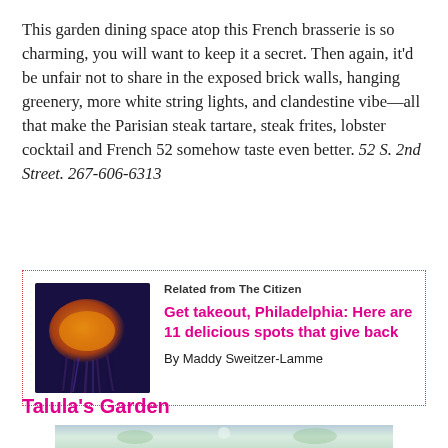This garden dining space atop this French brasserie is so charming, you will want to keep it a secret. Then again, it'd be unfair not to share in the exposed brick walls, hanging greenery, more white string lights, and clandestine vibe—all that make the Parisian steak tartare, steak frites, lobster cocktail and French 52 somehow taste even better. 52 S. 2nd Street. 267-606-6313
[Figure (photo): Thumbnail photo of a jellyfish with orange and purple coloring against a dark background]
Related from The Citizen
Get takeout, Philadelphia: Here are 11 delicious spots that give back
By Maddy Sweitzer-Lamme
Talula's Garden
[Figure (photo): Partial outdoor garden scene with greenery and light, cropped at the bottom of the page]